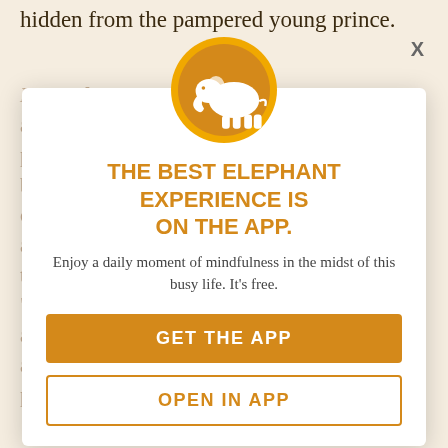hidden from the pampered young prince.
His awakening began when he ventured out and saw for the first time how the other 99 percent lived. He was shocked. And because of his own immense potential for compassion and intelligence, he recognized about these deep truths rather than ignore them. With the protection of the king, "Can you protect me from these things?" and received his one truly honest answer. The future Buddha soon left the palace for good, in order to find his own
[Figure (logo): Orange circle with white elephant icon — app logo]
THE BEST ELEPHANT EXPERIENCE IS ON THE APP.
Enjoy a daily moment of mindfulness in the midst of this busy life. It's free.
GET THE APP
OPEN IN APP